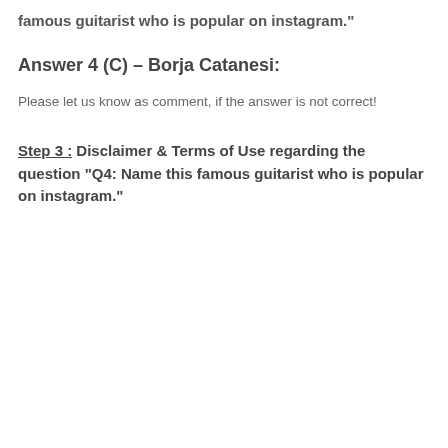famous guitarist who is popular on instagram."
Answer 4 (C) – Borja Catanesi:
Please let us know as comment, if the answer is not correct!
Step 3 : Disclaimer & Terms of Use regarding the question "Q4: Name this famous guitarist who is popular on instagram."